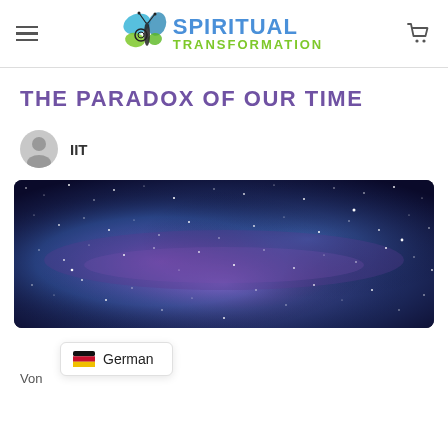Spiritual Transformation — site header with hamburger menu, logo, and cart icon
THE PARADOX OF OUR TIME
IIT
[Figure (photo): Wide panoramic night sky photo showing the Milky Way galaxy with stars and purple/blue nebula clouds]
German
Von